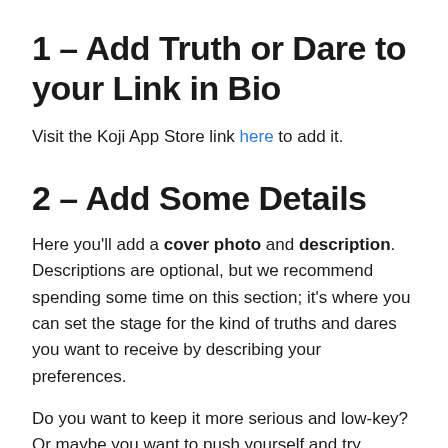1 – Add Truth or Dare to your Link in Bio
Visit the Koji App Store link here to add it.
2 – Add Some Details
Here you'll add a cover photo and description. Descriptions are optional, but we recommend spending some time on this section; it's where you can set the stage for the kind of truths and dares you want to receive by describing your preferences.
Do you want to keep it more serious and low-key? Or maybe you want to push yourself and try something crazy!